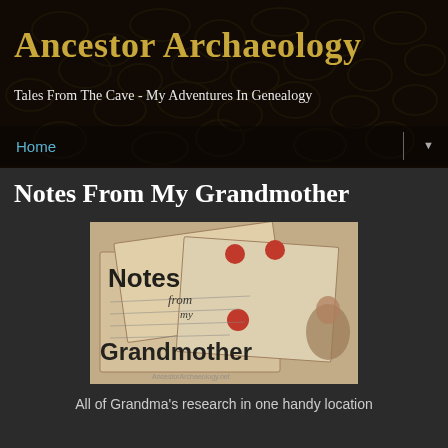[Figure (photo): Website header banner with dark stained-glass / mosaic pattern background]
Ancestor Archaeology
Tales From The Cave - My Adventures In Genealogy
Home
Notes From My Grandmother
[Figure (photo): Book/blog post cover image showing old handwritten letters and envelopes with red stamps, titled 'Notes from my Grandmother', with a vintage portrait of a woman, watermark reads AncestorArchaeology.net]
All of Grandma's research in one handy location